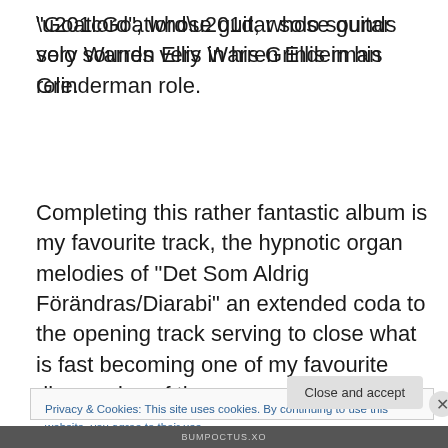“Goatlord”, whose guitar solo sounds very Warren Ellis in his Grinderman role.
Completing this rather fantastic album is my favourite track, the hypnotic organ melodies of “Det Som Aldrig Förändras/Diarabi” an extended coda to the opening track serving to close what is fast becoming one of my favourite discoveries of the year.
Privacy & Cookies: This site uses cookies. By continuing to use this website, you agree to their use.
To find out more, including how to control cookies, see here: Cookie Policy
BUMPOCTUS.XO